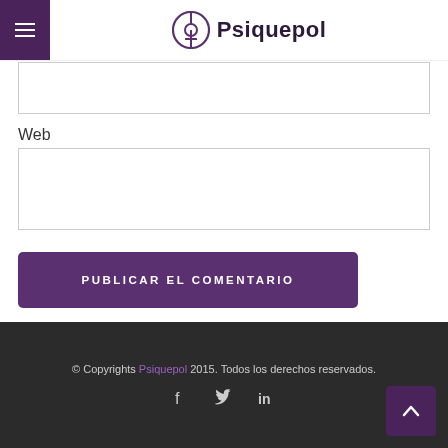Psiquepol
Web
[Figure (screenshot): Input text field (Web URL field)]
PUBLICAR EL COMENTARIO
© Copyrights Psiquepol 2015. Todos los derechos reservados.